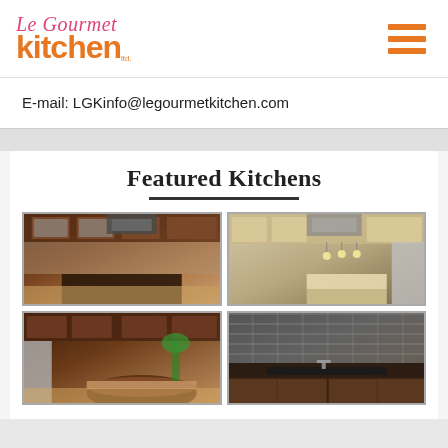Le Gourmet Kitchen Ltd. — logo and navigation header
E-mail: LGKinfo@legourmetkitchen.com
Featured Kitchens
[Figure (photo): Featured kitchen photo 1 — dark wood cabinets with island and granite countertop]
[Figure (photo): Featured kitchen photo 2 — light wood cabinets with pendant lights and island seating]
[Figure (photo): Featured kitchen photo 3 — dark cherry wood cabinets with curved island]
[Figure (photo): Featured kitchen photo 4 — dark stone countertop close-up with sink]